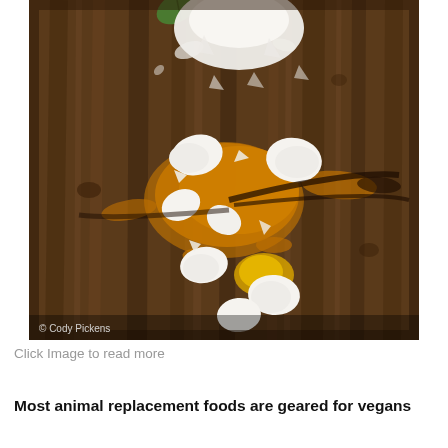[Figure (photo): Overhead photo of cracked eggs with yolks and shells scattered on a dark wooden surface, with white flour or powder at the top. A green leaf is visible at top. Photo credit: © Cody Pickens shown at bottom left of image.]
Click Image to read more
Most animal replacement foods are geared for vegans